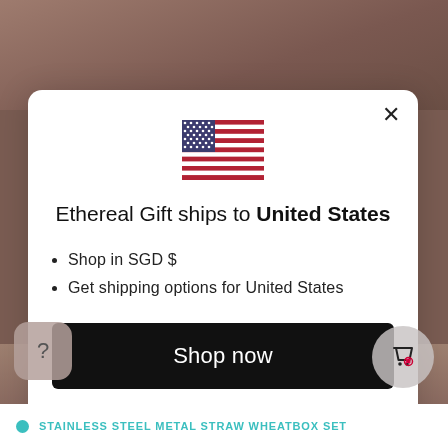[Figure (screenshot): Background showing a blurred scene at top and bottom, with a modal dialog overlay in the center.]
×
[Figure (illustration): US flag emoji/illustration centered at top of modal]
Ethereal Gift ships to United States
Shop in SGD $
Get shipping options for United States
Shop now
Change shipping country
STAINLESS STEEL METAL STRAW WHEATBOX SET